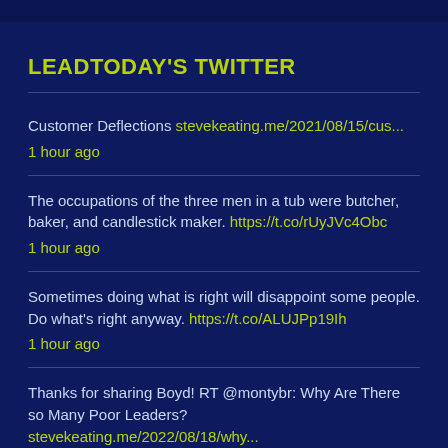LEADTODAY'S TWITTER
Customer Deflections stevekeating.me/2021/08/15/cus... 1 hour ago
The occupations of the three men in a tub were butcher, baker, and candlestick maker. https://t.co/rUyJVc4Obc 1 hour ago
Sometimes doing what is right will disappoint some people. Do what's right anyway. https://t.co/ALUJPp19Ih 1 hour ago
Thanks for sharing Boyd! RT @montybr: Why Are There so Many Poor Leaders? stevekeating.me/2022/08/18/why... 1 hour ago
Giraffes have no vocal chords. https://t.co/gdzZiLoaeT 2 hours ago